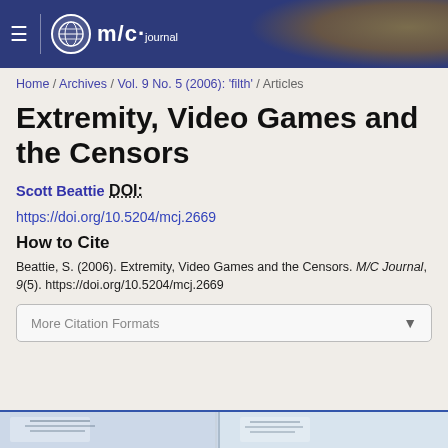M/C Journal
Home / Archives / Vol. 9 No. 5 (2006): 'filth' / Articles
Extremity, Video Games and the Censors
Scott Beattie
DOI:
https://doi.org/10.5204/mcj.2669
How to Cite
Beattie, S. (2006). Extremity, Video Games and the Censors. M/C Journal, 9(5). https://doi.org/10.5204/mcj.2669
More Citation Formats
[Figure (photo): Partial view of a document or paper image at the bottom of the page]